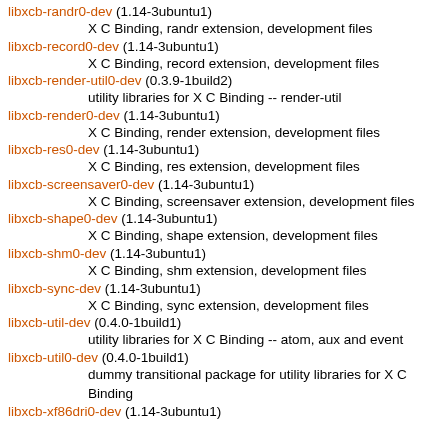libxcb-randr0-dev (1.14-3ubuntu1)
    X C Binding, randr extension, development files
libxcb-record0-dev (1.14-3ubuntu1)
    X C Binding, record extension, development files
libxcb-render-util0-dev (0.3.9-1build2)
    utility libraries for X C Binding -- render-util
libxcb-render0-dev (1.14-3ubuntu1)
    X C Binding, render extension, development files
libxcb-res0-dev (1.14-3ubuntu1)
    X C Binding, res extension, development files
libxcb-screensaver0-dev (1.14-3ubuntu1)
    X C Binding, screensaver extension, development files
libxcb-shape0-dev (1.14-3ubuntu1)
    X C Binding, shape extension, development files
libxcb-shm0-dev (1.14-3ubuntu1)
    X C Binding, shm extension, development files
libxcb-sync-dev (1.14-3ubuntu1)
    X C Binding, sync extension, development files
libxcb-util-dev (0.4.0-1build1)
    utility libraries for X C Binding -- atom, aux and event
libxcb-util0-dev (0.4.0-1build1)
    dummy transitional package for utility libraries for X C Binding
libxcb-xf86dri0-dev (1.14-3ubuntu1)